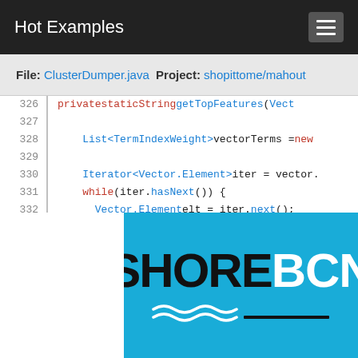Hot Examples
File: ClusterDumper.java   Project: shopittome/mahout
[Figure (screenshot): Java source code snippet showing lines 326-337 of ClusterDumper.java with syntax highlighting. Lines include: private static String getTopFeatures(Vect..., List<TermIndexWeight> vectorTerms = new..., Iterator<Vector.Element> iter = vector...., while (iter.hasNext()) {, Vector.Element elt = iter.next();, vectorTerms.add(new TermIndexWeight(e..., }, // Sort results in reverse order (ie we..., Collections.sort(]
[Figure (logo): SHORE BCN logo on cyan/blue background with wave decoration and underline]